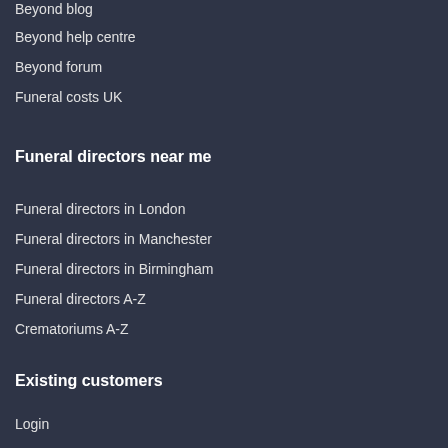Beyond blog
Beyond help centre
Beyond forum
Funeral costs UK
Funeral directors near me
Funeral directors in London
Funeral directors in Manchester
Funeral directors in Birmingham
Funeral directors A-Z
Crematoriums A-Z
Existing customers
Login